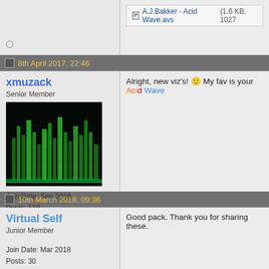A.J.Bakker - Acid Wave.avs (1.6 KB, 1027...)
8th April 2017, 22:46
xmuzack
Senior Member
Join Date: Sep 2016
Posts: 119
Alright, new viz's! My fav is your Acid Wave
10th March 2018, 09:36
Virtual Self
Junior Member
Join Date: Mar 2018
Posts: 30
Good pack. Thank you for sharing these.